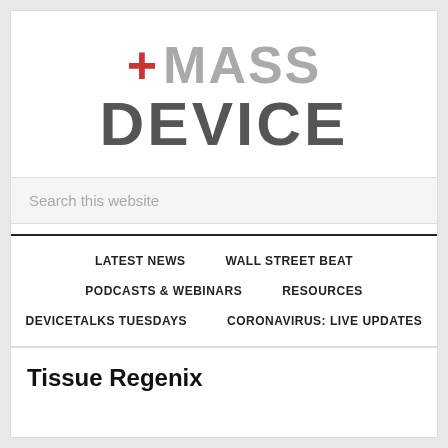[Figure (logo): MassDevice logo with red plus sign and gray MASS DEVICE text]
Search this website
LATEST NEWS   WALL STREET BEAT   PODCASTS & WEBINARS   RESOURCES   DEVICETALKS TUESDAYS   CORONAVIRUS: LIVE UPDATES
Tissue Regenix